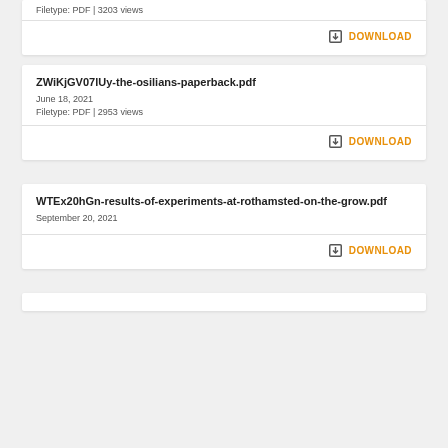Filetype: PDF | 3203 views
DOWNLOAD
ZWiKjGV07lUy-the-osilians-paperback.pdf
June 18, 2021
Filetype: PDF | 2953 views
DOWNLOAD
WTEx20hGn-results-of-experiments-at-rothamsted-on-the-grow.pdf
September 20, 2021
DOWNLOAD